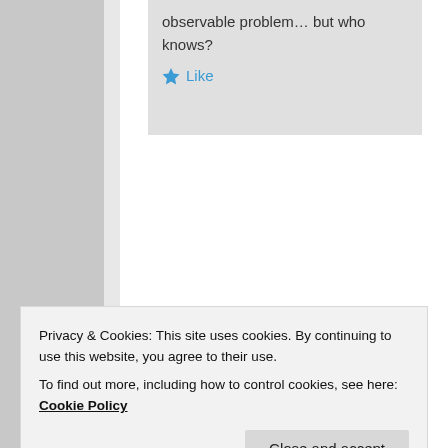observable problem… but who knows?
Like
Dominic on November 16, 2017 at 2:01 AM said:
Privacy & Cookies: This site uses cookies. By continuing to use this website, you agree to their use.
To find out more, including how to control cookies, see here: Cookie Policy
Close and accept
almost ruled out all foods